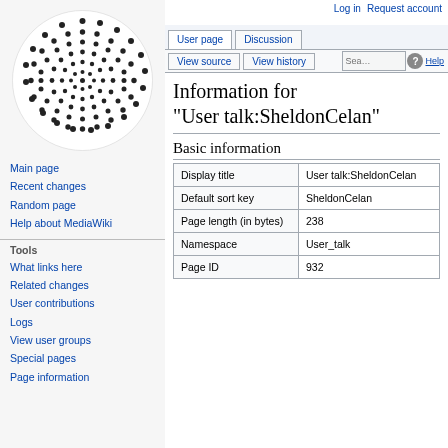[Figure (logo): Wikipedia spiral dot logo in black and white]
Main page
Recent changes
Random page
Help about MediaWiki
Tools
What links here
Related changes
User contributions
Logs
View user groups
Special pages
Page information
Log in   Request account
User page   Discussion   View source   View history   Search   Help
Information for "User talk:SheldonCelan"
Basic information
|  |  |
| --- | --- |
| Display title | User talk:SheldonCelan |
| Default sort key | SheldonCelan |
| Page length (in bytes) | 238 |
| Namespace | User_talk |
| Page ID | 932 |